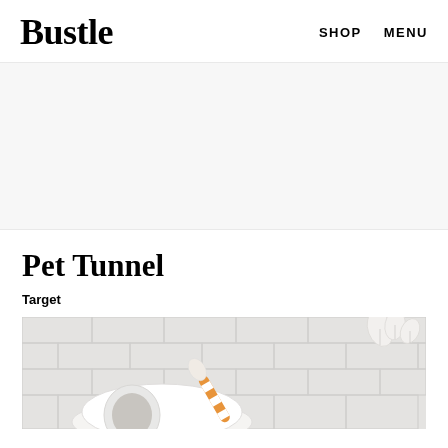Bustle   SHOP   MENU
[Figure (other): Advertisement banner placeholder with light gray background]
Pet Tunnel
Target
[Figure (photo): Product photo of a pet tunnel against a white brick wall background, with an orange and white striped toy visible in the lower center and a white decorative leaf ornament in the upper right corner]